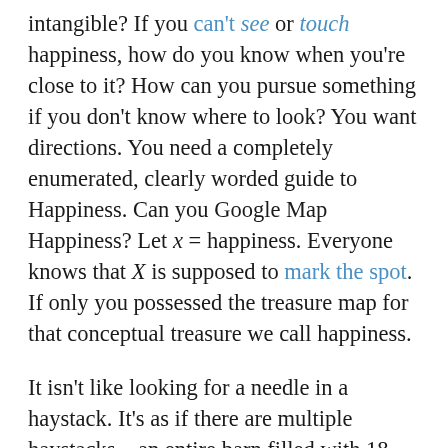intangible? If you can't see or touch happiness, how do you know when you're close to it? How can you pursue something if you don't know where to look? You want directions. You need a completely enumerated, clearly worded guide to Happiness. Can you Google Map Happiness? Let x = happiness. Everyone knows that X is supposed to mark the spot. If only you possessed the treasure map for that conceptual treasure we call happiness.
It isn't like looking for a needle in a haystack. It's as if there are multiple haystacks—an entire barn filled with 18 karat golden straw, a veritable horse's heaven!—and you're drowning in it, you don't know even know what you're looking for. You feel powerless.